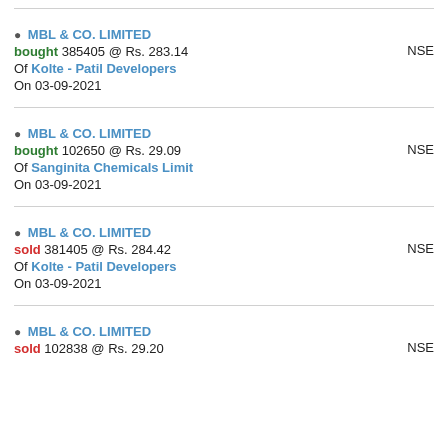MBL & CO. LIMITED bought 385405 @ Rs. 283.14 Of Kolte - Patil Developers On 03-09-2021 NSE
MBL & CO. LIMITED bought 102650 @ Rs. 29.09 Of Sanginita Chemicals Limit On 03-09-2021 NSE
MBL & CO. LIMITED sold 381405 @ Rs. 284.42 Of Kolte - Patil Developers On 03-09-2021 NSE
MBL & CO. LIMITED sold 102838 @ Rs. 29.20 NSE